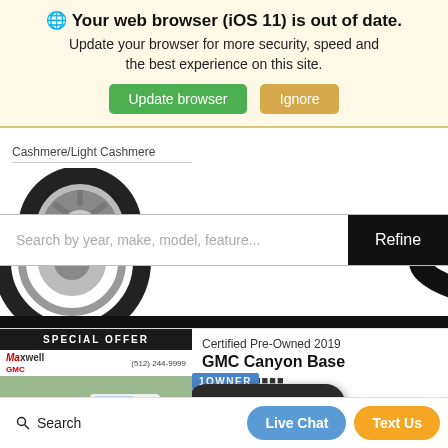🌐 Your web browser (iOS 11) is out of date. Update your browser for more security, speed and the best experience on this site.
Update browser | Ignore
Cashmere/Light Cashmere
[Figure (photo): Partial view of a chrome car wheel/tire from above]
Search by year, make, model, feature...
Refine
[Figure (photo): Partial view of a chrome car wheel/tire from below]
[Figure (photo): White GMC Canyon pickup truck at a dealership lot, with SPECIAL OFFER label. Maxwell GMC dealer, (512) 244-9999]
Certified Pre-Owned 2019
GMC Canyon Base
Stock# [partially obscured]
Value Your Trade
1OWNER
Live Chat
Text Us
Search